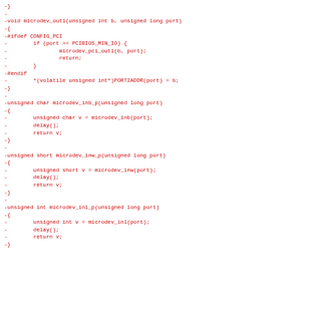Code diff showing removed lines (prefixed with -) for microdev_outl, microdev_inb_p, microdev_inw_p, and microdev_inl_p functions in C